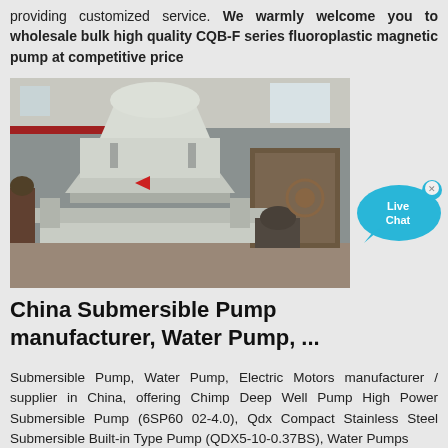providing customized service. We warmly welcome you to wholesale bulk high quality CQB-F series fluoroplastic magnetic pump at competitive price
[Figure (photo): Industrial machine (possibly a vertical shaft impact crusher or similar heavy equipment) in a factory/warehouse setting, painted light grey/white, on a metal frame structure.]
[Figure (infographic): Live Chat button — cyan speech bubble with 'Live Chat' text and a small X close button]
China Submersible Pump manufacturer, Water Pump, ...
Submersible Pump, Water Pump, Electric Motors manufacturer / supplier in China, offering Chimp Deep Well Pump High Power Submersible Pump (6SP60 02-4.0), Qdx Compact Stainless Steel Submersible Built-in Type Pump (QDX5-10-0.37BS), Water Pumps